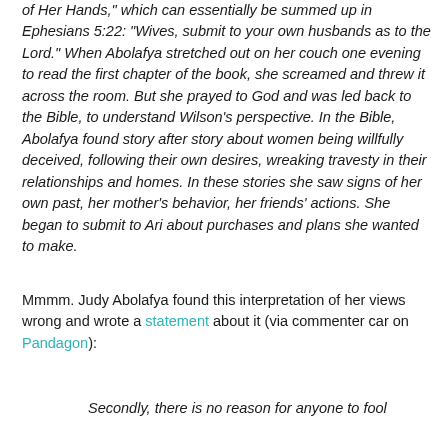of Her Hands," which can essentially be summed up in Ephesians 5:22: "Wives, submit to your own husbands as to the Lord." When Abolafya stretched out on her couch one evening to read the first chapter of the book, she screamed and threw it across the room. But she prayed to God and was led back to the Bible, to understand Wilson's perspective. In the Bible, Abolafya found story after story about women being willfully deceived, following their own desires, wreaking travesty in their relationships and homes. In these stories she saw signs of her own past, her mother's behavior, her friends' actions. She began to submit to Ari about purchases and plans she wanted to make.
Mmmm. Judy Abolafya found this interpretation of her views wrong and wrote a statement about it (via commenter car on Pandagon):
Secondly, there is no reason for anyone to fool